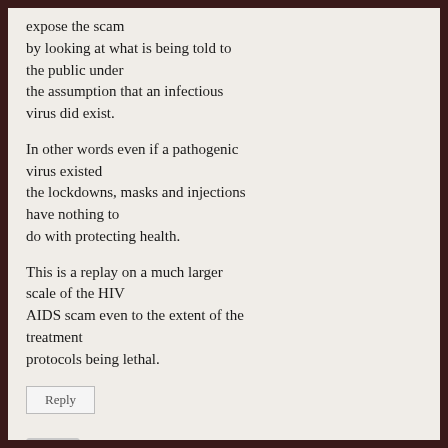expose the scam by looking at what is being told to the public under the assumption that an infectious virus did exist.
In other words even if a pathogenic virus existed the lockdowns, masks and injections have nothing to do with protecting health.
This is a replay on a much larger scale of the HIV AIDS scam even to the extent of the treatment protocols being lethal.
Reply
Jim S Smith says: February 20, 2022 at 12:01 pm